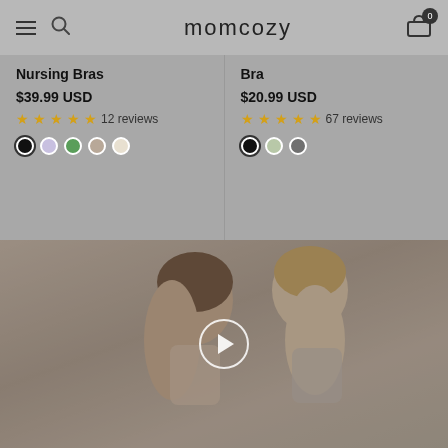momcozy
Nursing Bras
$39.99 USD
12 reviews
Bra
$20.99 USD
67 reviews
[Figure (photo): Two women wearing nursing/maternity bras posed back-to-back, with a video play button overlay indicating a promotional video]